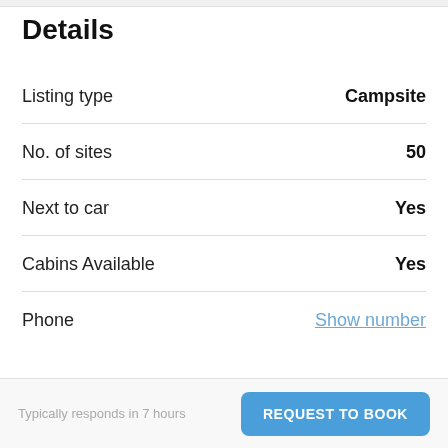Details
| Field | Value |
| --- | --- |
| Listing type | Campsite |
| No. of sites | 50 |
| Next to car | Yes |
| Cabins Available | Yes |
| Phone | Show number |
Typically responds in 7 hours
REQUEST TO BOOK